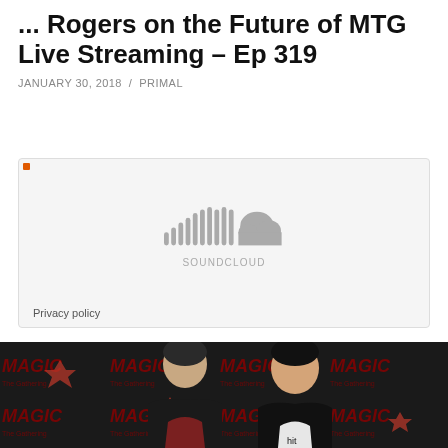... Rogers on the Future of MTG Live Streaming – Ep 319
JANUARY 30, 2018 / PRIMAL
[Figure (screenshot): SoundCloud embedded audio player placeholder showing the SoundCloud logo and 'SOUNDCLOUD' text on a light grey background, with a 'Privacy policy' link at the bottom left and an orange square indicator in the top left corner.]
[Figure (photo): Two men posing together in front of a Magic: The Gathering branded backdrop with red and black colors. Left person has short dark hair and a beard, wearing a dark jacket over a burgundy shirt. Right person has black hair, smiling broadly, wearing a black jacket over a white shirt with 'hit' text visible.]